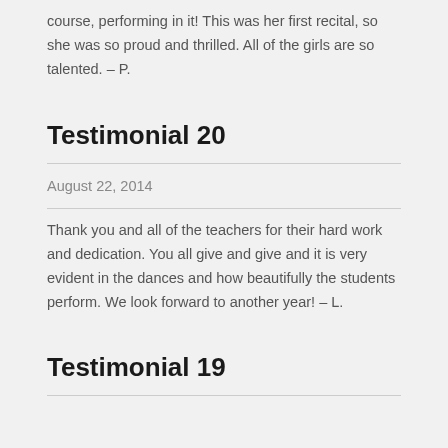course, performing in it! This was her first recital, so she was so proud and thrilled. All of the girls are so talented. – P.
Testimonial 20
August 22, 2014
Thank you and all of the teachers for their hard work and dedication. You all give and give and it is very evident in the dances and how beautifully the students perform. We look forward to another year! – L.
Testimonial 19